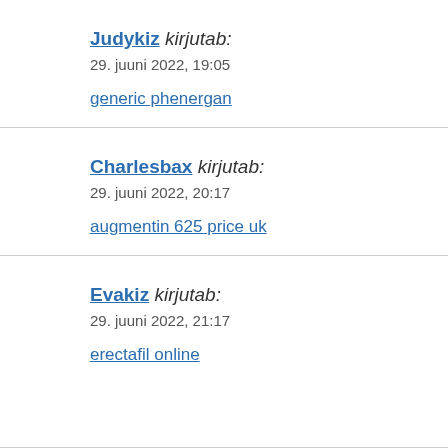Judykiz kirjutab:
29. juuni 2022, 19:05
generic phenergan
Charlesbax kirjutab:
29. juuni 2022, 20:17
augmentin 625 price uk
Evakiz kirjutab:
29. juuni 2022, 21:17
erectafil online